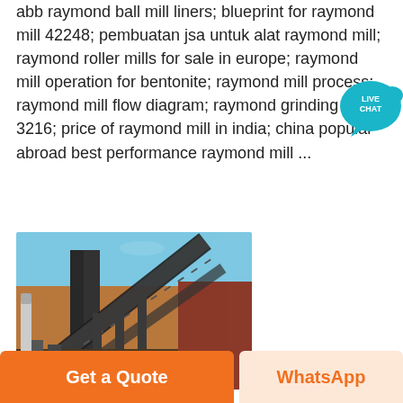abb raymond ball mill liners; blueprint for raymond mill 42248; pembuatan jsa untuk alat raymond mill; raymond roller mills for sale in europe; raymond mill operation for bentonite; raymond mill process; raymond mill flow diagram; raymond grinding mill 3216; price of raymond mill in india; china popular abroad best performance raymond mill ...
[Figure (photo): Industrial mining facility showing a large conveyor belt system and processing equipment against a blue sky, with red/brown earth terrain visible.]
Get a Quote
WhatsApp